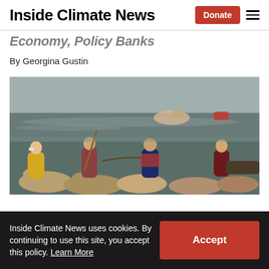Inside Climate News | Donate
Inside Climate News
By Georgina Gustin
[Figure (photo): People wading through floodwaters rescuing livestock – cattle visible in the foreground, several people in water using ropes and poles, a boat visible on the right side, misty floodscape background.]
Inside Climate News uses cookies. By continuing to use this site, you accept this policy. Learn More